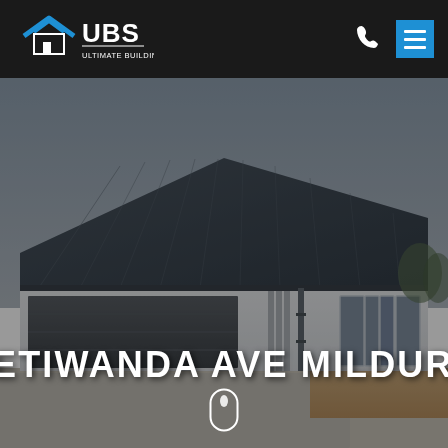[Figure (logo): UBS Ultimate Building Solutions logo — white house icon with blue roof chevrons, white bold UBS text, white smaller text ULTIMATE BUILDING SOLUTIONS]
[Figure (photo): Photo of a modern single-storey house with dark grey Colorbond roof, large dark grey roller garage door on left, white rendered walls, tall narrow windows on right side, concrete driveway, red/brown earth landscaping, overcast sky background. Dark overlay applied.]
ETIWANDA AVE MILDURA